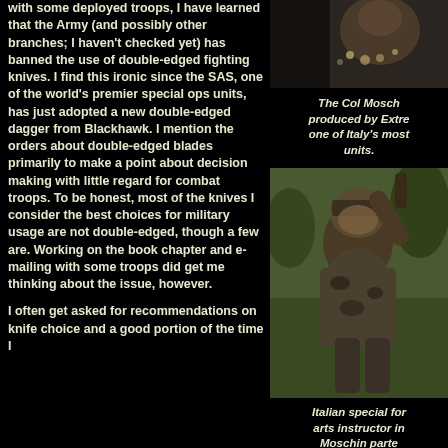with some deployed troops, I have learned that the Army (and possibly other branches; I haven't checked yet) has banned the use of double-edged fighting knives. I find this ironic since the SAS, one of the world's premier special ops units, has just adopted a new double-edged dagger from Blackhawk. I mention the orders about double-edged blades primarily to make a point about decision making with little regard for combat troops. To be honest, most of the knives I consider the best choices for military usage are not double-edged, though a few are. Working on the book chapter and e-mailing with some troops did get me thinking about the issue, however.
[Figure (photo): Partial photo at top right, appears to show a person with equipment, dark background]
The Col Mosch produced by Extre one of Italy's most units.
[Figure (photo): Italian special forces martial arts instructor demonstrating techniques, man in camouflage with helmet]
I often get asked for recommendations on knife choice and a good portion of the time I
Italian special for arts instructor in Moschin parte